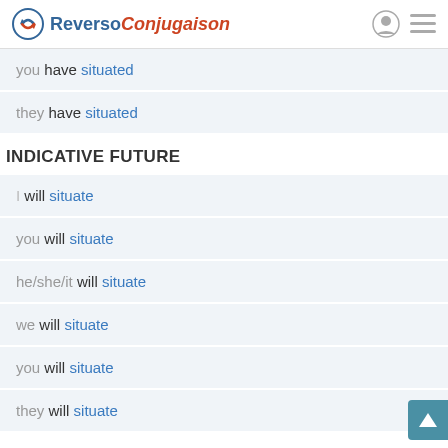Reverso Conjugaison
you have situated
they have situated
INDICATIVE FUTURE
I will situate
you will situate
he/she/it will situate
we will situate
you will situate
they will situate
INDICATIVE FUTURE PERFECT